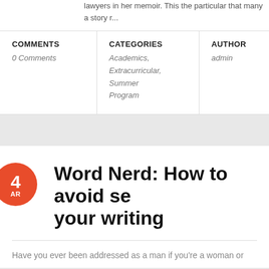lawyers in her memoir. This the particular that many a story r...
| COMMENTS | CATEGORIES | AUTHOR |
| --- | --- | --- |
| 0 Comments | Academics, Extracurricular, Summer Program | admin |
Word Nerd: How to avoid se... your writing
Have you ever been addressed as a man if you're a woman or...